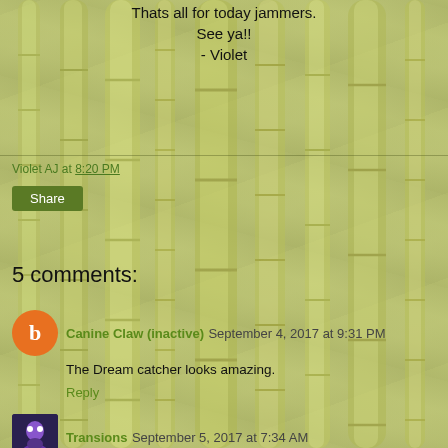Thats all for today jammers.
See ya!!
- Violet
Violet AJ at 8:20 PM
Share
5 comments:
Canine Claw (inactive) September 4, 2017 at 9:31 PM
The Dream catcher looks amazing.
Reply
Transions September 5, 2017 at 7:34 AM
Yeah, It's awesome!